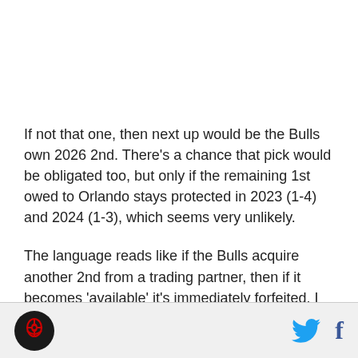If not that one, then next up would be the Bulls own 2026 2nd. There's a chance that pick would be obligated too, but only if the remaining 1st owed to Orlando stays protected in 2023 (1-4) and 2024 (1-3), which seems very unlikely.
The language reads like if the Bulls acquire another 2nd from a trading partner, then if it becomes 'available' it's immediately forfeited. I wonder if they
Bulls logo | Twitter | Facebook